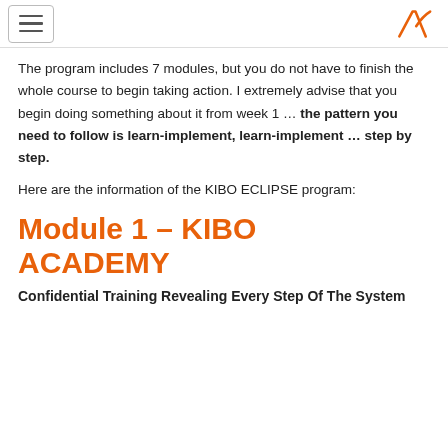[hamburger menu] [logo]
The program includes 7 modules, but you do not have to finish the whole course to begin taking action. I extremely advise that you begin doing something about it from week 1 … the pattern you need to follow is learn-implement, learn-implement … step by step.
Here are the information of the KIBO ECLIPSE program:
Module 1 – KIBO ACADEMY
Confidential Training Revealing Every Step Of The System